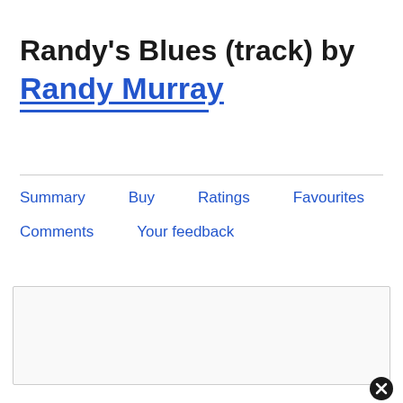Randy's Blues (track) by Randy Murray
Summary
Buy
Ratings
Favourites
Comments
Your feedback
[Figure (screenshot): Empty text input area with a close (x) button at bottom right]